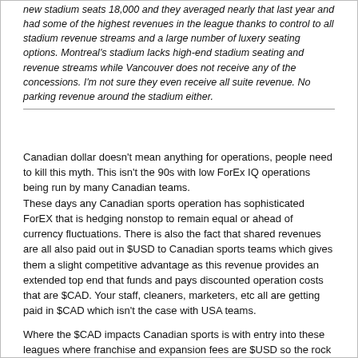new stadium seats 18,000 and they averaged nearly that last year and had some of the highest revenues in the league thanks to control to all stadium revenue streams and a large number of luxery seating options. Montreal's stadium lacks high-end stadium seating and revenue streams while Vancouver does not receive any of the concessions. I'm not sure they even receive all suite revenue. No parking revenue around the stadium either.
Canadian dollar doesn't mean anything for operations, people need to kill this myth. This isn't the 90s with low ForEx IQ operations being run by many Canadian teams.
These days any Canadian sports operation has sophisticated ForEX that is hedging nonstop to remain equal or ahead of currency fluctuations. There is also the fact that shared revenues are all also paid out in $USD to Canadian sports teams which gives them a slight competitive advantage as this revenue provides an extended top end that funds and pays discounted operation costs that are $CAD. Your staff, cleaners, marketers, etc all are getting paid in $CAD which isn't the case with USA teams.
Where the $CAD impacts Canadian sports is with entry into these leagues where franchise and expansion fees are $USD so the rock bottom deal of $40 million with a near par dollar is much more palatable to Montreal back then versus the $200 million $USD needed now. This is the biggest reason that further Canadian expansion died (thus creating a window of opportunity for the Canadian Soccer League to startup).